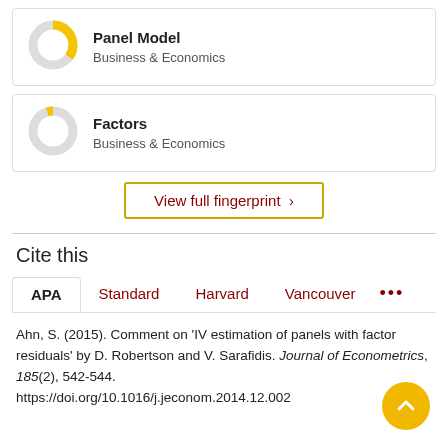[Figure (donut-chart): Donut chart icon for Panel Model, Business & Economics, partially filled in yellow]
Panel Model
Business & Economics
[Figure (donut-chart): Donut chart icon for Factors, Business & Economics, small yellow segment]
Factors
Business & Economics
View full fingerprint >
Cite this
APA   Standard   Harvard   Vancouver   ...
Ahn, S. (2015). Comment on 'IV estimation of panels with factor residuals' by D. Robertson and V. Sarafidis. Journal of Econometrics, 185(2), 542-544. https://doi.org/10.1016/j.jeconom.2014.12.002